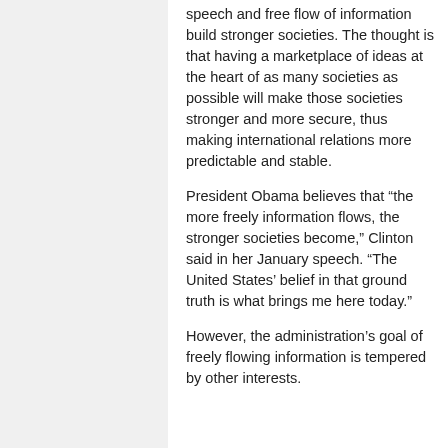speech and free flow of information build stronger societies. The thought is that having a marketplace of ideas at the heart of as many societies as possible will make those societies stronger and more secure, thus making international relations more predictable and stable.
President Obama believes that “the more freely information flows, the stronger societies become,” Clinton said in her January speech. “The United States’ belief in that ground truth is what brings me here today.”
However, the administration’s goal of freely flowing information is tempered by other interests.